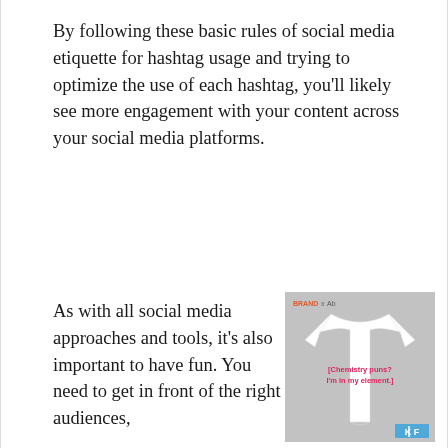By following these basic rules of social media etiquette for hashtag usage and trying to optimize the use of each hashtag, you'll likely see more engagement with your content across your social media platforms.
As with all social media approaches and tools, it's also important to have fun. You need to get in front of the right audiences,
[Figure (photo): A white t-shirt on a grey background with the text '[Chemistry puns? I'm in my element.]' printed in red/pink on the chest. BRANDxAb logo at the top left, KIF logo at the bottom right.]